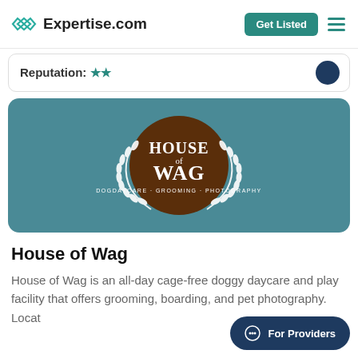Expertise.com
Reputation:
[Figure (logo): House of Wag logo on teal background — dark brown circle with white laurel wreath and text 'House of Wag Dogdaycare · Grooming · Photography']
House of Wag
House of Wag is an all-day cage-free doggy daycare and play facility that offers grooming, boarding, and pet photography. Locat... the Six Points/Lithia Mills Auto District off of CTT...